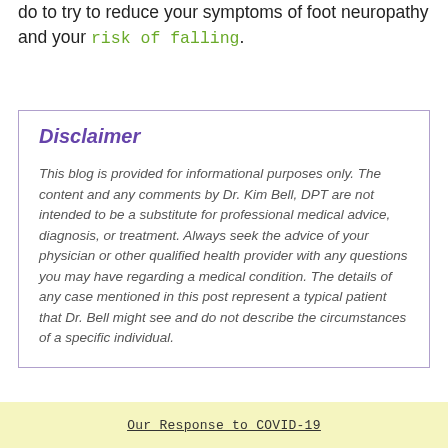do to try to reduce your symptoms of foot neuropathy and your risk of falling.
Disclaimer
This blog is provided for informational purposes only. The content and any comments by Dr. Kim Bell, DPT are not intended to be a substitute for professional medical advice, diagnosis, or treatment. Always seek the advice of your physician or other qualified health provider with any questions you may have regarding a medical condition. The details of any case mentioned in this post represent a typical patient that Dr. Bell might see and do not describe the circumstances of a specific individual.
Our Response to COVID-19